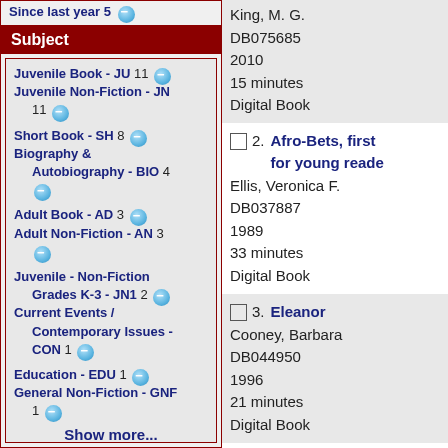Since last year 5
Subject
Juvenile Book - JU 11
Juvenile Non-Fiction - JN 11
Short Book - SH 8
Biography & Autobiography - BIO 4
Adult Book - AD 3
Adult Non-Fiction - AN 3
Juvenile - Non-Fiction Grades K-3 - JN1 2
Current Events / Contemporary Issues - CON 1
Education - EDU 1
General Non-Fiction - GNF 1
Show more...
King, M. G.
DB075685
2010
15 minutes
Digital Book
2. Afro-Bets, first book about Africa : for young readers
Ellis, Veronica F.
DB037887
1989
33 minutes
Digital Book
3. Eleanor
Cooney, Barbara
DB044950
1996
21 minutes
Digital Book
4. National park e...